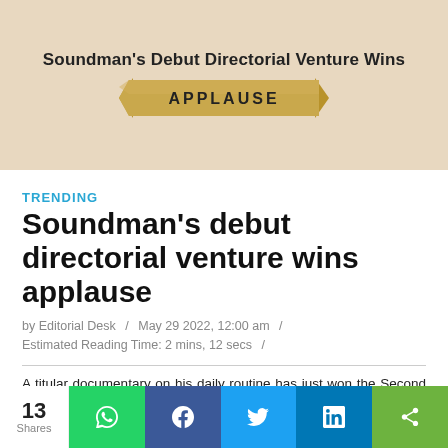[Figure (illustration): Banner image with beige/tan background showing text 'Soundman's Debut Directorial Venture Wins' above a gold/tan ribbon banner with 'APPLAUSE' in bold serif letters]
TRENDING
Soundman's debut directorial venture wins applause
by Editorial Desk / May 29 2022, 12:00 am / Estimated Reading Time: 2 mins, 12 secs /
A titular documentary on his daily routine has just won the Second Best Documentary award at the 7th Bengal International Short Film Festival (BISFF), reports The Daily Eye Newsdesk
13 Shares